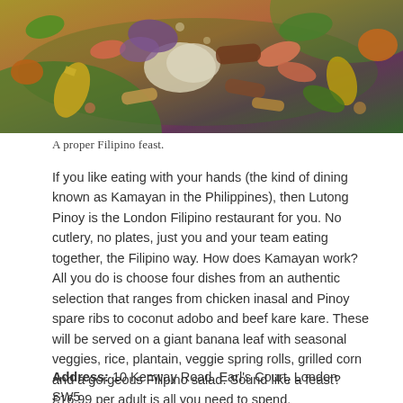[Figure (photo): Overhead view of a colourful Filipino feast spread on a banana leaf with various dishes, vegetables, rice and seafood.]
A proper Filipino feast.
If you like eating with your hands (the kind of dining known as Kamayan in the Philippines), then Lutong Pinoy is the London Filipino restaurant for you. No cutlery, no plates, just you and your team eating together, the Filipino way. How does Kamayan work? All you do is choose four dishes from an authentic selection that ranges from chicken inasal and Pinoy spare ribs to coconut adobo and beef kare kare. These will be served on a giant banana leaf with seasonal veggies, rice, plantain, veggie spring rolls, grilled corn and a gorgeous Filipino salad. Sound like a feast? £16.99 per adult is all you need to spend.
Address: 10 Kenway Road, Earl's Court, London SW5